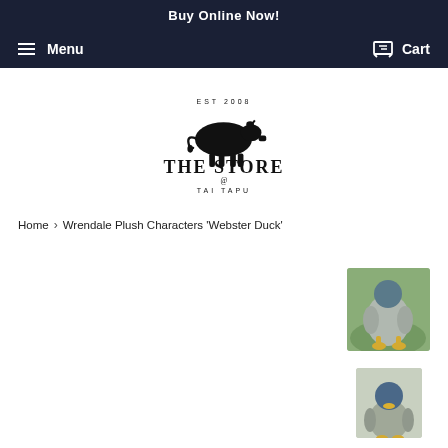Buy Online Now!
Menu   Cart
[Figure (logo): The Store @ Tai Tapu logo featuring a black silhouette of a cow, text 'THE STORE @ TAI TAPU', EST 2008]
Home > Wrendale Plush Characters 'Webster Duck'
[Figure (photo): Wrendale Webster Duck plush toy product image - rear view showing grey and yellow stuffed duck]
[Figure (photo): Wrendale Webster Duck plush toy - front/side view showing blue head and yellow beak stuffed duck]